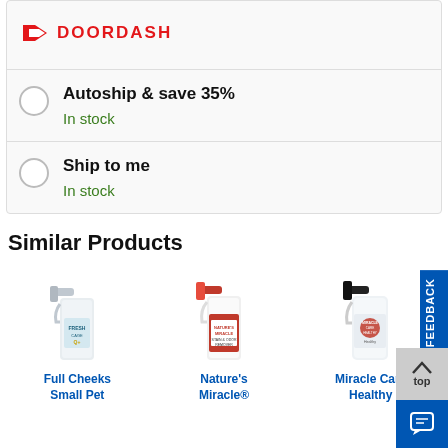[Figure (logo): DoorDash logo with red chevron icon and DOORDASH text in red]
Autoship & save 35% — In stock
Ship to me — In stock
Similar Products
[Figure (photo): Full Cheeks Small Pet spray bottle product image]
[Figure (photo): Nature's Miracle spray bottle product image with red trigger]
[Figure (photo): Miracle Care Healthy spray bottle product image with black trigger]
Full Cheeks Small Pet
Nature's Miracle®
Miracle Care Healthy